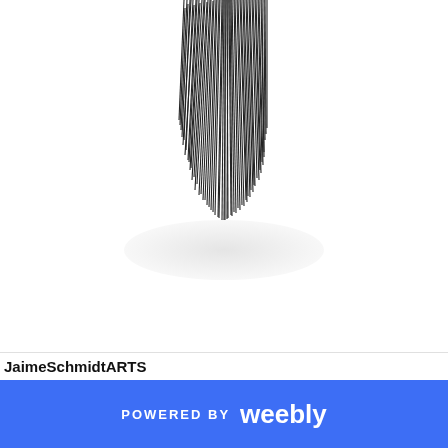[Figure (illustration): Black and white ink drawing of vertical scratchy lines forming a tapered downward hanging shape, resembling dripping or drooping hair/grass strands, centered at the top of the page with a soft shadow below it.]
JaimeSchmidtARTS
POWERED BY weebly